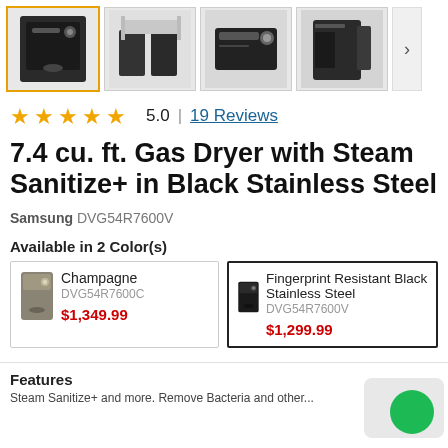[Figure (photo): Product thumbnail strip showing 4 images of a black Samsung gas dryer from different angles, with a next arrow button]
5.0 | 19 Reviews
7.4 cu. ft. Gas Dryer with Steam Sanitize+ in Black Stainless Steel
Samsung DVG54R7600V
Available in 2 Color(s)
| Champagne | DVG54R7600C | $1,349.99 |
| Fingerprint Resistant Black Stainless Steel | DVG54R7600V | $1,299.99 |
Features
Steam Sanitize+ and more. Features with...